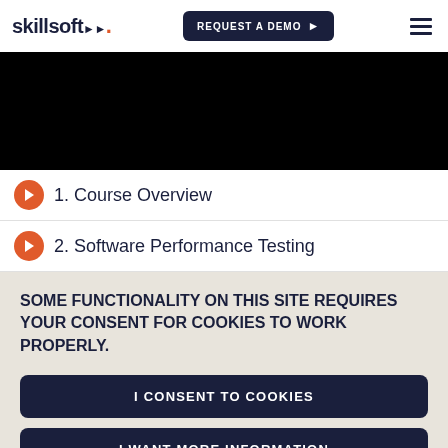skillsoft | REQUEST A DEMO
[Figure (screenshot): Black video player area]
1. Course Overview
2. Software Performance Testing
SOME FUNCTIONALITY ON THIS SITE REQUIRES YOUR CONSENT FOR COOKIES TO WORK PROPERLY.
I CONSENT TO COOKIES
I WANT MORE INFORMATION